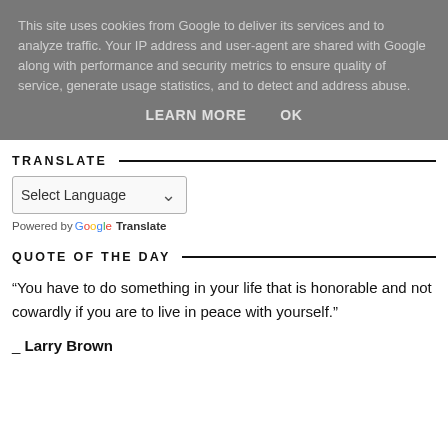This site uses cookies from Google to deliver its services and to analyze traffic. Your IP address and user-agent are shared with Google along with performance and security metrics to ensure quality of service, generate usage statistics, and to detect and address abuse.
LEARN MORE    OK
TRANSLATE
[Figure (screenshot): Language selector dropdown widget showing 'Select Language' with a chevron arrow, and 'Powered by Google Translate' text below]
QUOTE OF THE DAY
“You have to do something in your life that is honorable and not cowardly if you are to live in peace with yourself.”
_ Larry Brown